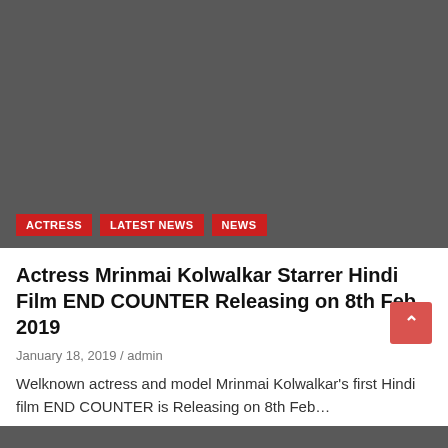[Figure (photo): Dark gray placeholder image block for article thumbnail]
ACTRESS
LATEST NEWS
NEWS
Actress Mrinmai Kolwalkar Starrer Hindi Film END COUNTER Releasing on 8th Feb 2019
January 18, 2019 / admin
Welknown actress and model Mrinmai Kolwalkar's first Hindi film END COUNTER is Releasing on 8th Feb…